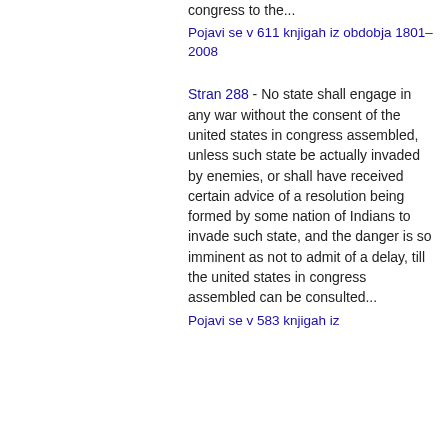congress to the...
Pojavi se v 611 knjigah iz obdobja 1801–2008
Stran 288 - No state shall engage in any war without the consent of the united states in congress assembled, unless such state be actually invaded by enemies, or shall have received certain advice of a resolution being formed by some nation of Indians to invade such state, and the danger is so imminent as not to admit of a delay, till the united states in congress assembled can be consulted...
Pojavi se v 583 knjigah iz